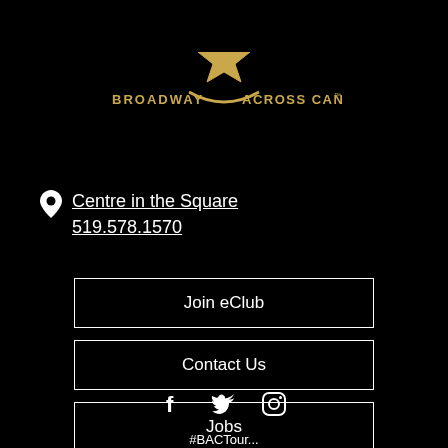[Figure (logo): Broadway Across Canada logo with gold star]
Centre in the Square
519.578.1570
Join eClub
Contact Us
Jobs
[Figure (illustration): Social media icons: Facebook, Twitter, Instagram]
#BACTour...